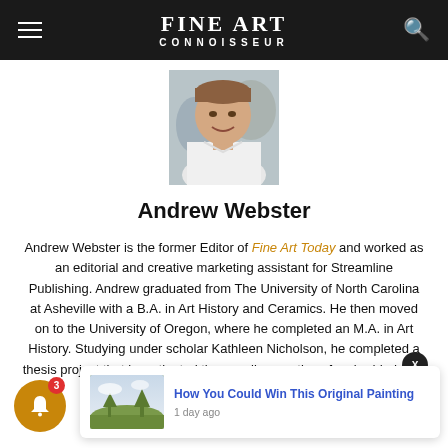FINE ART CONNOISSEUR
[Figure (photo): Headshot of Andrew Webster, a smiling young man in a white shirt, photographed outdoors]
Andrew Webster
Andrew Webster is the former Editor of Fine Art Today and worked as an editorial and creative marketing assistant for Streamline Publishing. Andrew graduated from The University of North Carolina at Asheville with a B.A. in Art History and Ceramics. He then moved on to the University of Oregon, where he completed an M.A. in Art History. Studying under scholar Kathleen Nicholson, he completed a thesis project that investigated the peculiar practice of embedded se... the 1...
[Figure (screenshot): Notification popup: 'How You Could Win This Original Painting' with landscape thumbnail and '1 day ago' timestamp]